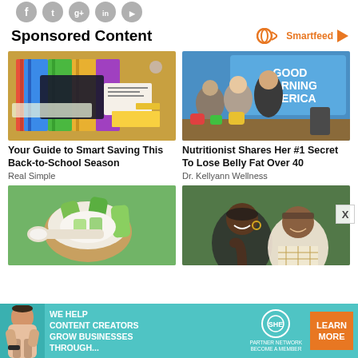[Figure (other): Row of circular social media icon buttons (Facebook, Twitter, etc.) in gray]
Sponsored Content
[Figure (logo): Smartfeed logo with infinity icon and play button in orange]
[Figure (photo): Back-to-school supplies flatlay with colored pencils, notebooks, and school items]
Your Guide to Smart Saving This Back-to-School Season
Real Simple
[Figure (photo): Good Morning America set with nutritionist and hosts at a food demonstration table]
Nutritionist Shares Her #1 Secret To Lose Belly Fat Over 40
Dr. Kellyann Wellness
[Figure (photo): Aloe vera pieces and white cream/powder in a wooden bowl and spoon]
[Figure (photo): Couple smiling outdoors]
[Figure (other): SHE Partner Network advertisement banner with teal background, person, and Learn More button]